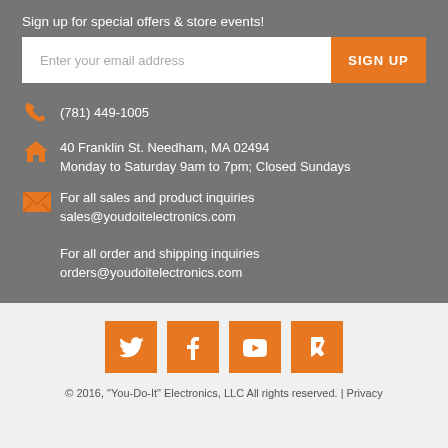Sign up for special offers & store events!
Enter your email address | SIGN UP
(781) 449-1005
40 Franklin St. Needham, MA 02494
Monday to Saturday 9am to 7pm; Closed Sundays
For all sales and product inquiries
sales@youdoitelectronics.com

For all order and shipping inquiries
orders@youdoitelectronics.com
[Figure (infographic): Social media icons: Twitter, Facebook, YouTube, Foursquare — orange square buttons]
© 2016, "You-Do-It" Electronics, LLC All rights reserved. | Privacy